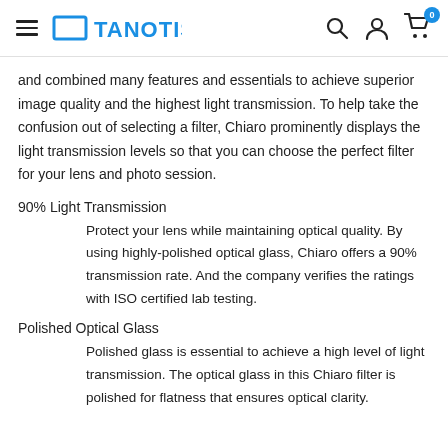TANOTIS
and combined many features and essentials to achieve superior image quality and the highest light transmission. To help take the confusion out of selecting a filter, Chiaro prominently displays the light transmission levels so that you can choose the perfect filter for your lens and photo session.
90% Light Transmission
Protect your lens while maintaining optical quality. By using highly-polished optical glass, Chiaro offers a 90% transmission rate. And the company verifies the ratings with ISO certified lab testing.
Polished Optical Glass
Polished glass is essential to achieve a high level of light transmission. The optical glass in this Chiaro filter is polished for flatness that ensures optical clarity.